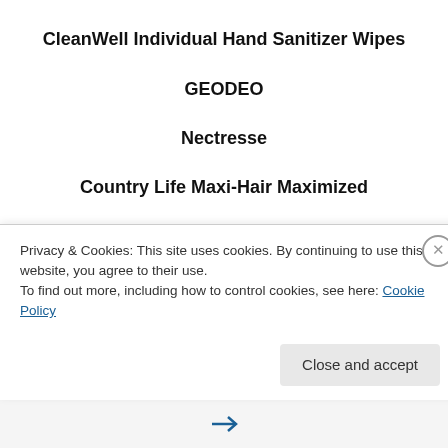CleanWell Individual Hand Sanitizer Wipes
GEODEO
Nectresse
Country Life Maxi-Hair Maximized
Love your Naturals,
BkAphrodite
Privacy & Cookies: This site uses cookies. By continuing to use this website, you agree to their use.
To find out more, including how to control cookies, see here: Cookie Policy
Close and accept